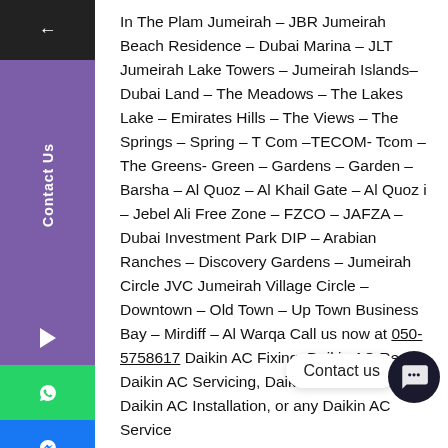In The Plam Jumeirah – JBR Jumeirah Beach Residence – Dubai Marina – JLT Jumeirah Lake Towers – Jumeirah Islands– Dubai Land – The Meadows – The Lakes Lake – Emirates Hills – The Views – The Springs – Spring – T Com –TECOM- Tcom – The Greens- Green – Gardens – Garden – Barsha – Al Quoz – Al Khail Gate – Al Quoz i – Jebel Ali Free Zone – FZCO – JAFZA – Dubai Investment Park DIP – Arabian Ranches – Discovery Gardens – Jumeirah Circle JVC Jumeirah Village Circle – Downtown – Old Town – Up Town Business Bay – Mirdiff – Al Warqa Call us now at 050-5758617 Daikin AC Fixing, Daikin AC Repair, Daikin AC Servicing, Daikin AC Maintenance, Daikin AC Installation, or any Daikin AC Service Al Hamar – Wasal Road – Al Bada – Umm Suqim – Jumeira – Jumeirah– Jumeirah Park – Karama – Deria – Bur Dubai – Mankhool – Al Rashidiya – Mirdif – Al Furjan Villa –Furjan villa – IMPZ International Media Production Zone and Falcon City – Al Qusais – Al Nahda – Umm Ramool – Al Jadaf – DIEC – diFc – Green Community Motor City – Tcom – Sheikh